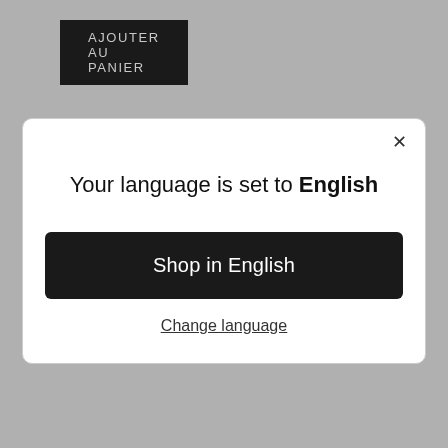[Figure (screenshot): Dark button with white text reading 'AJOUTER AU PANIER' in a grey background (French 'Add to Cart' button)]
[Figure (screenshot): Modal dialog with close X button, title 'Your language is set to English', a black 'Shop in English' button, and a 'Change language' underlined link]